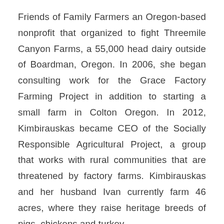Friends of Family Farmers an Oregon-based nonprofit that organized to fight Threemile Canyon Farms, a 55,000 head dairy outside of Boardman, Oregon. In 2006, she began consulting work for the Grace Factory Farming Project in addition to starting a small farm in Colton Oregon. In 2012, Kimbirauskas became CEO of the Socially Responsible Agricultural Project, a group that works with rural communities that are threatened by factory farms. Kimbirauskas and her husband Ivan currently farm 46 acres, where they raise heritage breeds of pigs, chickens and turkey.